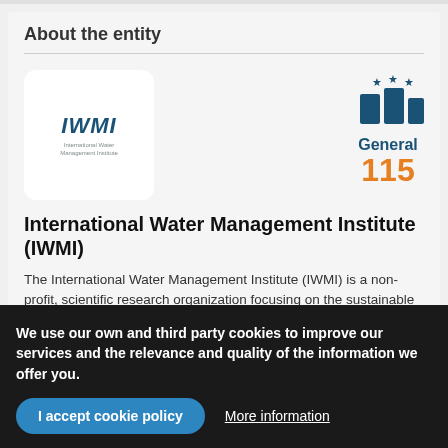About the entity
[Figure (logo): IWMI - International Water Management Institute logo in white rounded box]
[Figure (infographic): Bar chart ranking icon with stars, labeled General 115]
International Water Management Institute (IWMI)
The International Water Management Institute (IWMI) is a non-profit, scientific research organization focusing on the sustainable use of water and land resources in developing countries. IWMI is the lead center for the CGIAR Research Program on Water
We use our own and third party cookies to improve our services and the relevance and quality of the information we offer you.
I accept cookie policy
More information